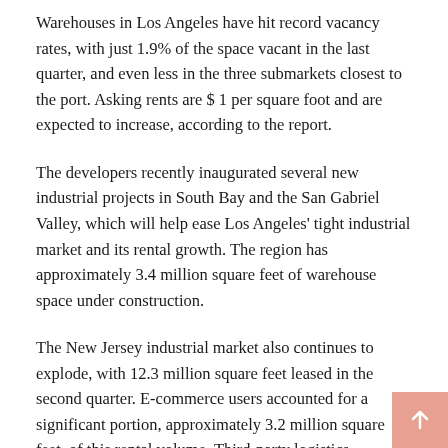Warehouses in Los Angeles have hit record vacancy rates, with just 1.9% of the space vacant in the last quarter, and even less in the three submarkets closest to the port. Asking rents are $ 1 per square foot and are expected to increase, according to the report.
The developers recently inaugurated several new industrial projects in South Bay and the San Gabriel Valley, which will help ease Los Angeles' tight industrial market and its rental growth. The region has approximately 3.4 million square feet of warehouse space under construction.
The New Jersey industrial market also continues to explode, with 12.3 million square feet leased in the second quarter. E-commerce users accounted for a significant portion, approximately 3.2 million square feet, of this rental volume. Third-party logistics companies also inked about 2.2 million square feet in Garden State in the last quarter. Tenants are currently seeking approximately 26 million square feet of industrial space statewide. The vacancy rate hit an all-time high